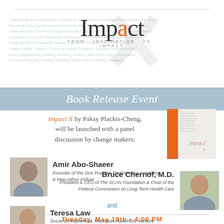[Figure (illustration): Impact X book release event flyer with logo, word cloud background, speaker photos and details]
Impact X — FROM INSPIRATION TO IMPACT
Book Release Event
Impact X by Paksy Plackis-Cheng, will be launched with a panel discussion by change makers:
Amir Abo-Shaeer
Founder of the Dos Pueblos Engineering Academy & MacArthur Fellow
Bruce Chernof, M.D.
President & CEO of The SCAN Foundation & Chair of the Federal Commission on Long-Term Health Care
and
Teresa Law
Social Entrepreneur, Mountain Hazelnuts Venture
Tuesday, May 19th • 4:00 PM